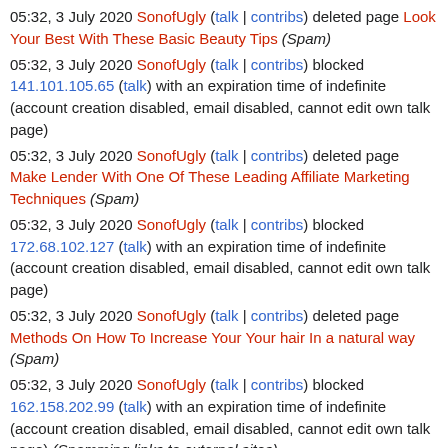05:32, 3 July 2020 SonofUgly (talk | contribs) deleted page Look Your Best With These Basic Beauty Tips (Spam)
05:32, 3 July 2020 SonofUgly (talk | contribs) blocked 141.101.105.65 (talk) with an expiration time of indefinite (account creation disabled, email disabled, cannot edit own talk page)
05:32, 3 July 2020 SonofUgly (talk | contribs) deleted page Make Lender With One Of These Leading Affiliate Marketing Techniques (Spam)
05:32, 3 July 2020 SonofUgly (talk | contribs) blocked 172.68.102.127 (talk) with an expiration time of indefinite (account creation disabled, email disabled, cannot edit own talk page)
05:32, 3 July 2020 SonofUgly (talk | contribs) deleted page Methods On How To Increase Your Your hair In a natural way (Spam)
05:32, 3 July 2020 SonofUgly (talk | contribs) blocked 162.158.202.99 (talk) with an expiration time of indefinite (account creation disabled, email disabled, cannot edit own talk page) (Spamming links to external sites)